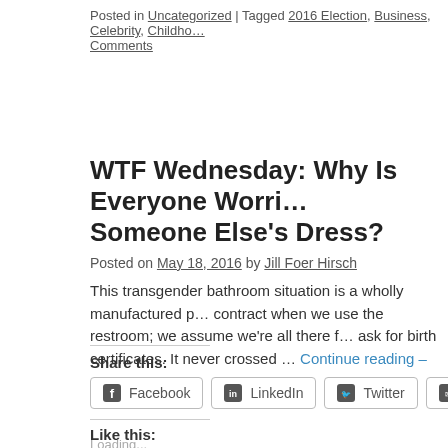Posted in Uncategorized | Tagged 2016 Election, Business, Celebrity, Childhood… Comments
WTF Wednesday: Why Is Everyone Worri… Someone Else's Dress?
Posted on May 18, 2016 by Jill Foer Hirsch
This transgender bathroom situation is a wholly manufactured p… contract when we use the restroom; we assume we're all there f… ask for birth certificates. It never crossed … Continue reading –
Share this:
Facebook  LinkedIn  Twitter  Email
Like this:
Loading...